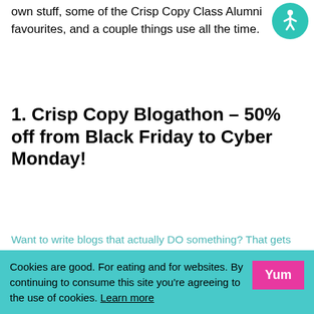own stuff, some of the Crisp Copy Class Alumni favourites, and a couple things use all the time.
[Figure (illustration): Accessibility icon — teal circle with white wheelchair/person symbol]
1. Crisp Copy Blogathon – 50% off from Black Friday to Cyber Monday!
Want to write blogs that actually DO something? That gets your readers to DO something? That go out into the Googley jungle and bring you qualified leads back into your funnel? That build relationships and make sales?
Cookies are good. For eating and for websites. By continuing to consume this site you're agreeing to the use of cookies. Learn more
[Figure (other): Yum button — hot pink rectangle with white bold text 'Yum']